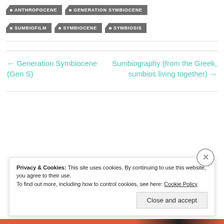• ANTHROPOCENE
• GENERATION SYMBIOCENE
• SUMBIOFILM
• SYMBIOCENE
• SYMBIOSIS
← Generation Symbiocene (Gen S)
Sumbiography (from the Greek, sumbios living together) →
Privacy & Cookies: This site uses cookies. By continuing to use this website, you agree to their use.
To find out more, including how to control cookies, see here: Cookie Policy
Close and accept